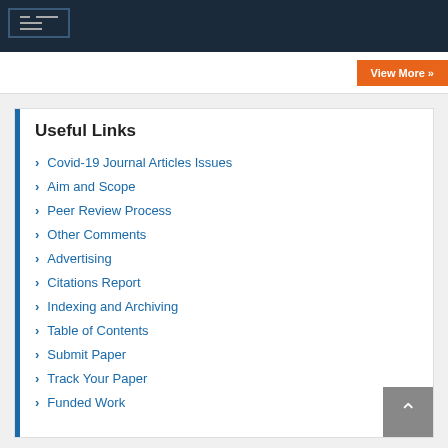Useful Links
Covid-19 Journal Articles Issues
Aim and Scope
Peer Review Process
Other Comments
Advertising
Citations Report
Indexing and Archiving
Table of Contents
Submit Paper
Track Your Paper
Funded Work